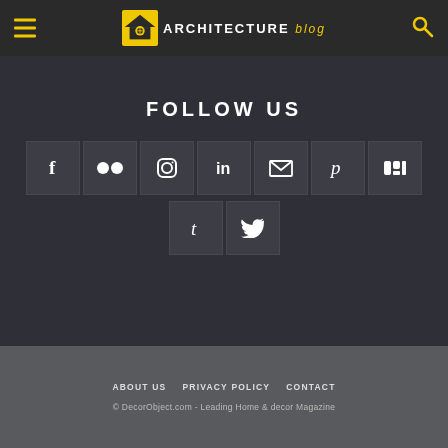ARCHITECTURE blog
FOLLOW US
[Figure (infographic): Social media icon buttons: Facebook, Flickr, Instagram, LinkedIn, Email, Pinterest, Mix, Tumblr, Twitter — white icons on dark translucent boxes]
ABOUT US   PRIVACY POLICY   CONTACT
© DecorObject.com - Leading Home & decor Magazine